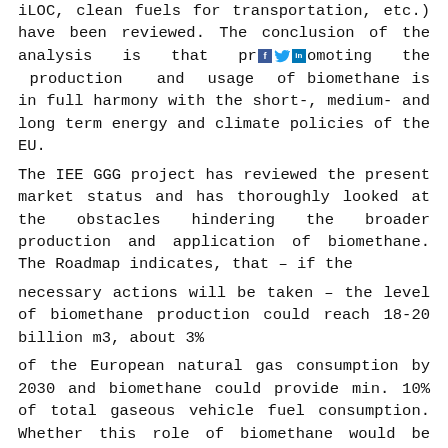iLOC, clean fuels for transportation, etc.) have been reviewed. The conclusion of the analysis is that promoting in the production and usage of biomethane is in full harmony with the short-, medium- and long term energy and climate policies of the EU. The IEE GGG project has reviewed the present market status and has thoroughly looked at the obstacles hindering the broader production and application of biomethane. The Roadmap indicates, that – if the necessary actions will be taken – the level of biomethane production could reach 18-20 billion m3, about 3% of the European natural gas consumption by 2030 and biomethane could provide min. 10% of total gaseous vehicle fuel consumption. Whether this role of biomethane would be reached is not a technical or raw material availability question – this is